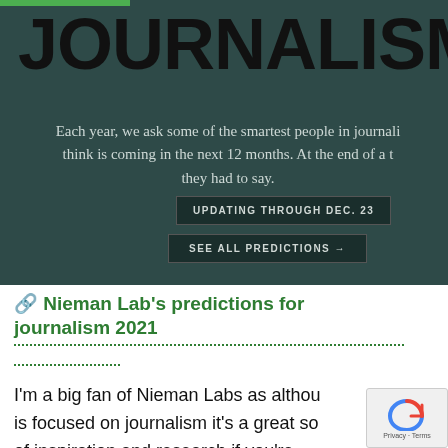[Figure (screenshot): Dark teal/green hero banner for a journalism predictions page showing the word JOURNALISM in large bold black text at the top, with a paragraph of text, and two dark buttons labeled 'UPDATING THROUGH DEC. 23' and 'SEE ALL PREDICTIONS →']
🔗 Nieman Lab's predictions for journalism 2021
I'm a big fan of Nieman Labs as although it is focused on journalism it's a great source of inspiration and research if you're